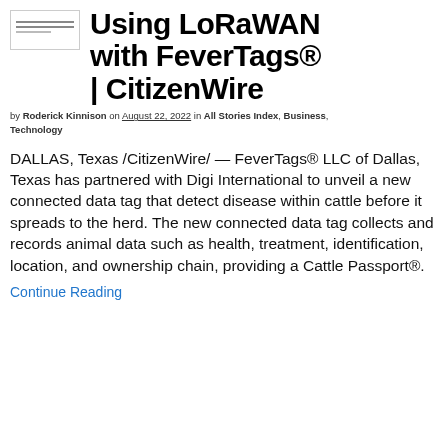[Figure (logo): Small logo/image placeholder in a box with horizontal lines]
Using LoRaWAN with FeverTags® | CitizenWire
by Roderick Kinnison on August 22, 2022 in All Stories Index, Business, Technology
DALLAS, Texas /CitizenWire/ — FeverTags® LLC of Dallas, Texas has partnered with Digi International to unveil a new connected data tag that detect disease within cattle before it spreads to the herd. The new connected data tag collects and records animal data such as health, treatment, identification, location, and ownership chain, providing a Cattle Passport®.
Continue Reading